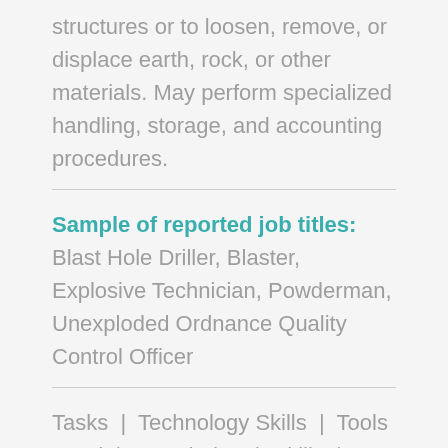structures or to loosen, remove, or displace earth, rock, or other materials. May perform specialized handling, storage, and accounting procedures.
Sample of reported job titles: Blast Hole Driller, Blaster, Explosive Technician, Powderman, Unexploded Ordnance Quality Control Officer
Tasks | Technology Skills | Tools Used | Knowledge | Skills | Abilities | Work Activities | Detailed Work Activities | Work